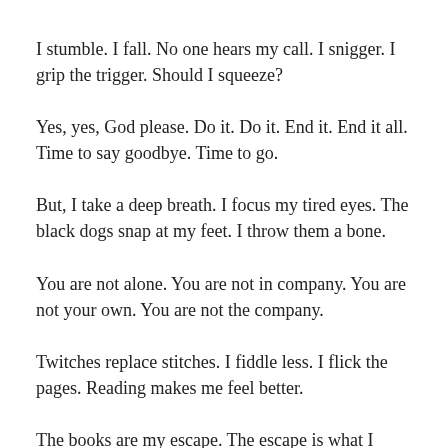I stumble. I fall. No one hears my call. I snigger. I grip the trigger. Should I squeeze?
Yes, yes, God please. Do it. Do it. End it. End it all. Time to say goodbye. Time to go.
But, I take a deep breath. I focus my tired eyes. The black dogs snap at my feet. I throw them a bone.
You are not alone. You are not in company. You are not your own. You are not the company.
Twitches replace stitches. I fiddle less. I flick the pages. Reading makes me feel better.
The books are my escape. The escape is what I need. The last